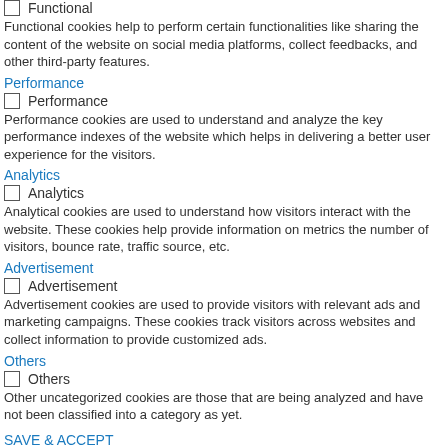Functional
Functional cookies help to perform certain functionalities like sharing the content of the website on social media platforms, collect feedbacks, and other third-party features.
Performance
Performance
Performance cookies are used to understand and analyze the key performance indexes of the website which helps in delivering a better user experience for the visitors.
Analytics
Analytics
Analytical cookies are used to understand how visitors interact with the website. These cookies help provide information on metrics the number of visitors, bounce rate, traffic source, etc.
Advertisement
Advertisement
Advertisement cookies are used to provide visitors with relevant ads and marketing campaigns. These cookies track visitors across websites and collect information to provide customized ads.
Others
Others
Other uncategorized cookies are those that are being analyzed and have not been classified into a category as yet.
SAVE & ACCEPT